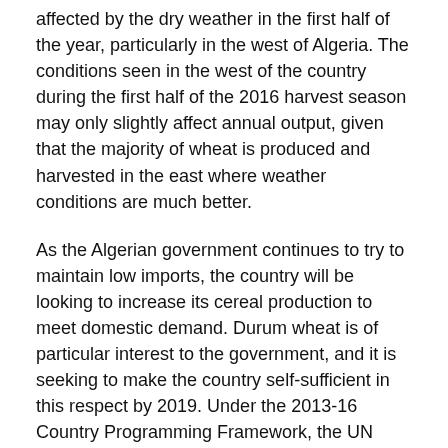affected by the dry weather in the first half of the year, particularly in the west of Algeria. The conditions seen in the west of the country during the first half of the 2016 harvest season may only slightly affect annual output, given that the majority of wheat is produced and harvested in the east where weather conditions are much better.
As the Algerian government continues to try to maintain low imports, the country will be looking to increase its cereal production to meet domestic demand. Durum wheat is of particular interest to the government, and it is seeking to make the country self-sufficient in this respect by 2019. Under the 2013-16 Country Programming Framework, the UN Food and Agriculture Organisation (FAO) is working with Algeria on introducing quinoa to producers and consumers.
Indeed, quinoa has a natural resistance to arid soils, and is thus seen as having the potential to contribute to the country's fight against hunger and malnutrition. The FAO provided seeds to farmers across the country and is responsible for organising training courses, mostly in farm management techniques for